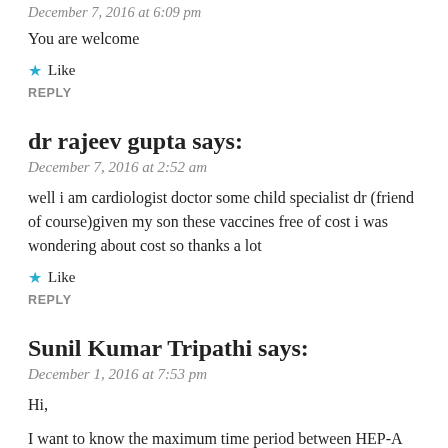December 7, 2016 at 6:09 pm
You are welcome
Like
REPLY
dr rajeev gupta says:
December 7, 2016 at 2:52 am
well i am cardiologist doctor some child specialist dr (friend of course)given my son these vaccines free of cost i was wondering about cost so thanks a lot
Like
REPLY
Sunil Kumar Tripathi says:
December 1, 2016 at 7:53 pm
Hi,
I want to know the maximum time period between HEP-A FIST